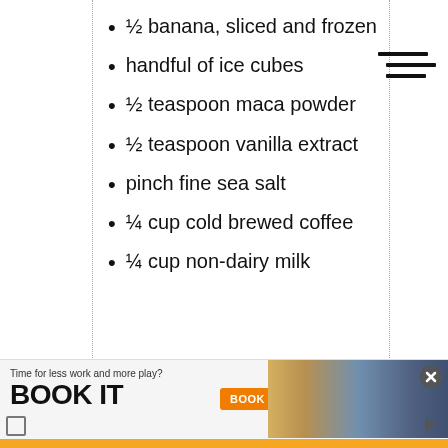½ banana, sliced and frozen
handful of ice cubes
½ teaspoon maca powder
½ teaspoon vanilla extract
pinch fine sea salt
¼ cup cold brewed coffee
¼ cup non-dairy milk
[Figure (screenshot): Advertisement banner: 'Time for less work and more play? BOOK IT' with orange BOOK NOW button and photo of person at desk]